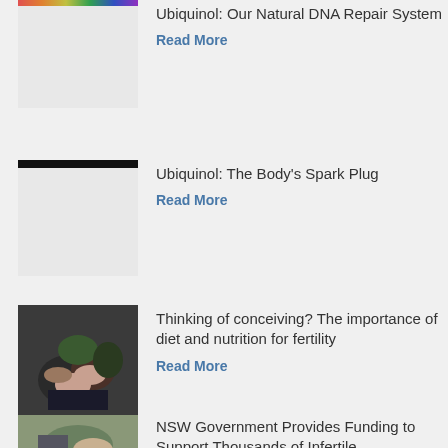[Figure (photo): Thumbnail image with colorful strip at top, mostly white/light background]
Ubiquinol: Our Natural DNA Repair System
Read More
[Figure (photo): Thumbnail image with black bar at top, light background]
Ubiquinol: The Body's Spark Plug
Read More
[Figure (photo): Photo of hands holding a baby, dark background with green]
Thinking of conceiving? The importance of diet and nutrition for fertility
Read More
[Figure (photo): Photo partially visible at bottom of page, green/outdoor background]
NSW Government Provides Funding to Support Thousands of Infertile